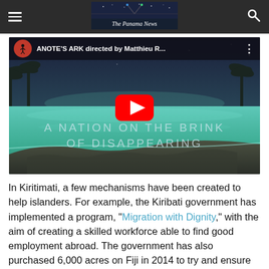The Panama News
[Figure (screenshot): YouTube video embed thumbnail showing a tropical island scene with turquoise water and dark sky. Title: 'ANOTE'S ARK directed by Matthieu R...' Text overlay: 'A NATION ON THE BRINK OF DISAPPEARING' with a YouTube play button in the center.]
In Kiritimati, a few mechanisms have been created to help islanders. For example, the Kiribati government has implemented a program, “Migration with Dignity,” with the aim of creating a skilled workforce able to find good employment abroad. The government has also purchased 6,000 acres on Fiji in 2014 to try and ensure food security